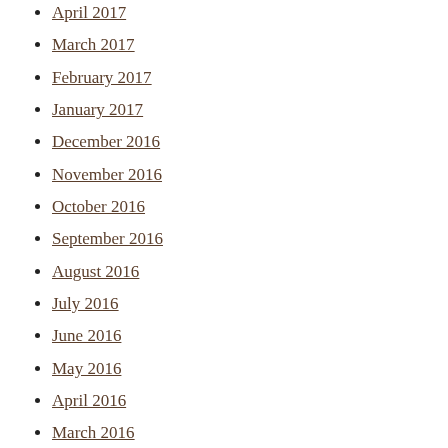April 2017
March 2017
February 2017
January 2017
December 2016
November 2016
October 2016
September 2016
August 2016
July 2016
June 2016
May 2016
April 2016
March 2016
February 2016
January 2016
December 2015
November 2015